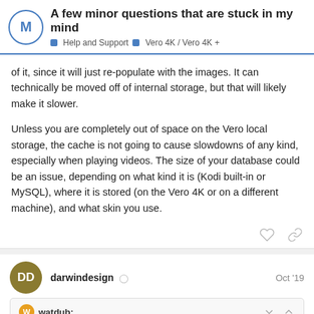A few minor questions that are stuck in my mind | Help and Support | Vero 4K / Vero 4K+
of it, since it will just re-populate with the images. It can technically be moved off of internal storage, but that will likely make it slower.
Unless you are completely out of space on the Vero local storage, the cache is not going to cause slowdowns of any kind, especially when playing videos. The size of your database could be an issue, depending on what kind it is (Kodi built-in or MySQL), where it is stored (on the Vero 4K or on a different machine), and what skin you use.
darwindesign Oct '19
watdub:
I don't know how it's mounted. I just plugged it into the